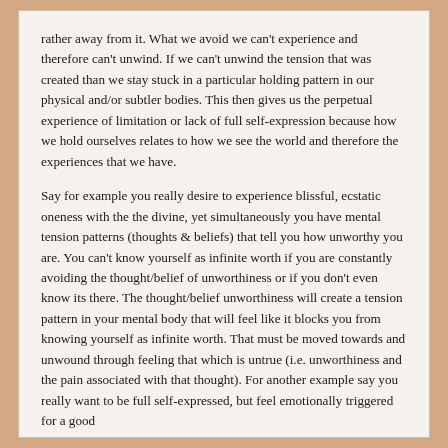rather away from it. What we avoid we can't experience and therefore can't unwind. If we can't unwind the tension that was created than we stay stuck in a particular holding pattern in our physical and/or subtler bodies. This then gives us the perpetual experience of limitation or lack of full self-expression because how we hold ourselves relates to how we see the world and therefore the experiences that we have.
Say for example you really desire to experience blissful, ecstatic oneness with the the divine, yet simultaneously you have mental tension patterns (thoughts & beliefs) that tell you how unworthy you are. You can't know yourself as infinite worth if you are constantly avoiding the thought/belief of unworthiness or if you don't even know its there. The thought/belief unworthiness will create a tension pattern in your mental body that will feel like it blocks you from knowing yourself as infinite worth. That must be moved towards and unwound through feeling that which is untrue (i.e. unworthiness and the pain associated with that thought). For another example say you really want to be full self-expressed, but feel emotionally triggered for a good